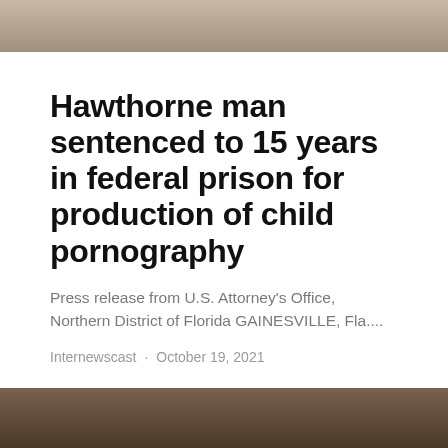[Figure (photo): Top cropped photo showing part of a person's face or head, dark tones]
Hawthorne man sentenced to 15 years in federal prison for production of child pornography
Press release from U.S. Attorney's Office, Northern District of Florida GAINESVILLE, Fla....
Internewscast · October 19, 2021
[Figure (photo): Bottom cropped photo showing part of a person's face, dark tones]